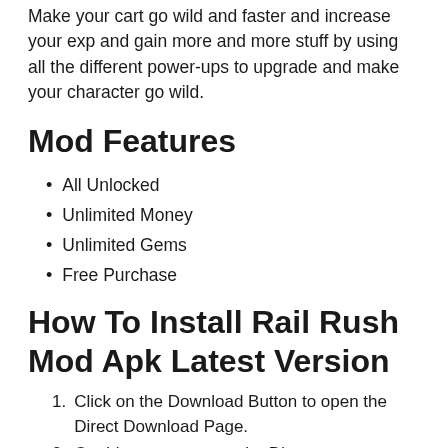Make your cart go wild and faster and increase your exp and gain more and more stuff by using all the different power-ups to upgrade and make your character go wild.
Mod Features
All Unlocked
Unlimited Money
Unlimited Gems
Free Purchase
How To Install Rail Rush Mod Apk Latest Version
Click on the Download Button to open the Direct Download Page.
On this page, you get the Direct